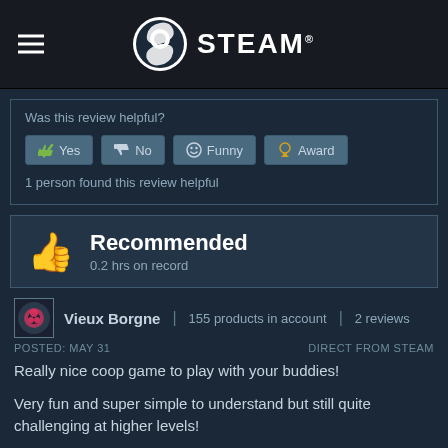STEAM®
Was this review helpful?
Yes  No  Funny  Award
1 person found this review helpful
Recommended
0.2 hrs on record
Vieux Borgne | 155 products in account | 2 reviews
POSTED: MAY 31   DIRECT FROM STEAM
Really nice coop game to play with your buddies!
Very fun and super simple to understand but still quite challenging at higher levels!
100% recommend :D